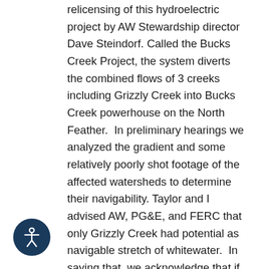Taylor Robertson and I were alerted to relicensing of this hydroelectric project by AW Stewardship director Dave Steindorf. Called the Bucks Creek Project, the system diverts the combined flows of 3 creeks including Grizzly Creek into Bucks Creek powerhouse on the North Feather. In preliminary hearings we analyzed the gradient and some relatively poorly shot footage of the affected watersheds to determine their navigability. Taylor and I advised AW, PG&E, and FERC that only Grizzly Creek had potential as navigable stretch of whitewater. In saying that, we acknowledge that if runnable it had to be on the upper limit of what is possible in a kayak, considering it's 2800 vertical feet